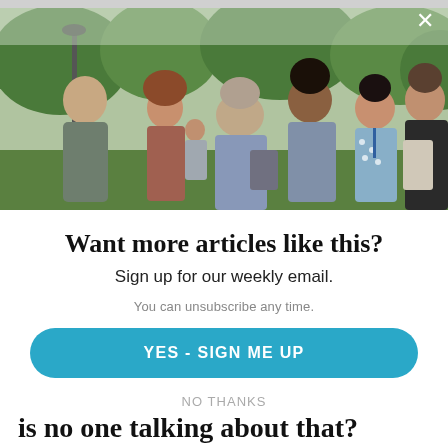[Figure (photo): Group of people talking outdoors in a park setting. Multiple adults of various backgrounds conversing, with trees and greenery visible in the background.]
Want more articles like this?
Sign up for our weekly email.
You can unsubscribe any time.
YES - SIGN ME UP
NO THANKS
is no one talking about that?